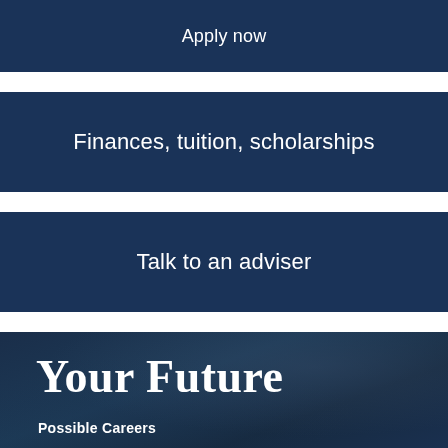Apply now
Finances, tuition, scholarships
Talk to an adviser
Your Future
Possible Careers